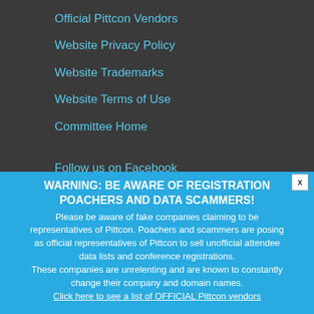Official Pittcon Vendors
Website Privacy Policy
Website Trademarks
Website Terms of Use
Committee Home
Follow us on Facebook
WARNING: BE AWARE OF REGISTRATION POACHERS AND DATA SCAMMERS!
Please be aware of fake companies claiming to be representatives of Pittcon. Poachers and scammers are posing as official representatives of Pittcon to sell unofficial attendee data lists and conference registrations. These companies are unrelenting and are known to constantly change their company and domain names.
Click here to see a list of OFFICIAL Pittcon vendors